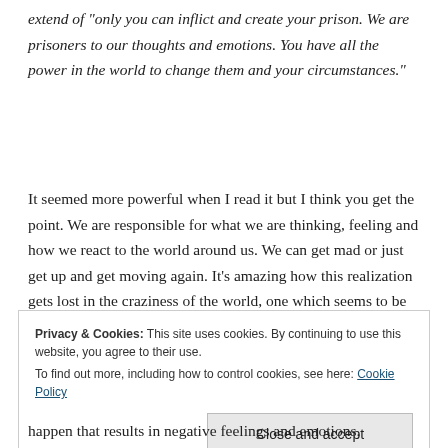extend of "only you can inflict and create your prison.  We are prisoners to our thoughts and emotions.  You have all the power in the world to change them and your circumstances."
It seemed more powerful when I read it but I think you get the point.  We are responsible for what we are thinking, feeling and how we react to the world around us.  We can get mad or just get up and get moving again.  It's amazing how this realization gets lost in the craziness of the world, one which seems to be getting crazier by the month.  As we
Privacy & Cookies: This site uses cookies. By continuing to use this website, you agree to their use.
To find out more, including how to control cookies, see here: Cookie Policy
happen that results in negative feelings and emotions.